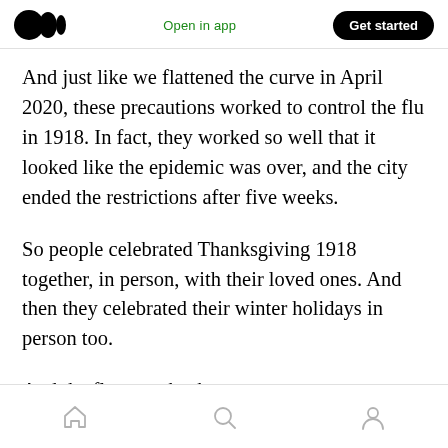Open in app | Get started
And just like we flattened the curve in April 2020, these precautions worked to control the flu in 1918. In fact, they worked so well that it looked like the epidemic was over, and the city ended the restrictions after five weeks.
So people celebrated Thanksgiving 1918 together, in person, with their loved ones. And then they celebrated their winter holidays in person too.
And the flu came back.
Home | Search | Profile